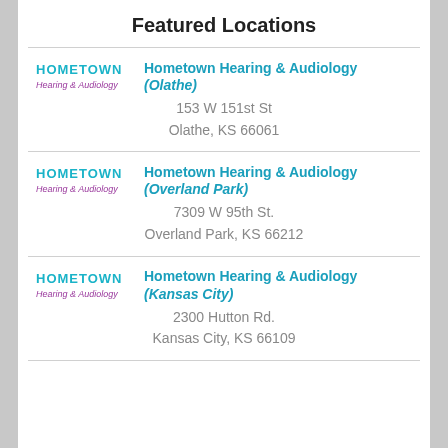Featured Locations
Hometown Hearing & Audiology (Olathe)
153 W 151st St
Olathe, KS 66061
Hometown Hearing & Audiology (Overland Park)
7309 W 95th St.
Overland Park, KS 66212
Hometown Hearing & Audiology (Kansas City)
2300 Hutton Rd.
Kansas City, KS 66109